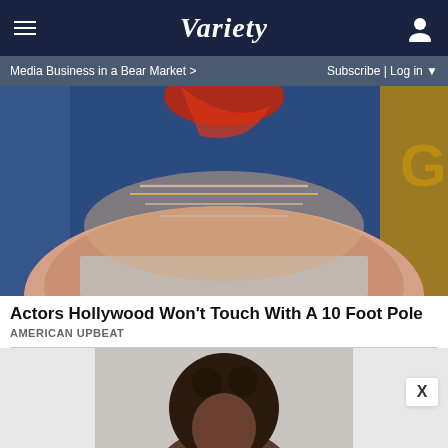VARIETY
Media Business in a Bear Market >
Subscribe | Log in
[Figure (photo): Close-up of a person with red hair wearing layered silver necklaces and a sparkly top, against a blue and gold background]
Actors Hollywood Won't Touch With A 10 Foot Pole
AMERICAN UPBEAT
[Figure (photo): Person with curly dark hair, partial view, on light background]
[Figure (infographic): Advertisement: ADJUSTABLE DUMBBELLS SPY TESTED & REVIEWED — SPY logo on black background]